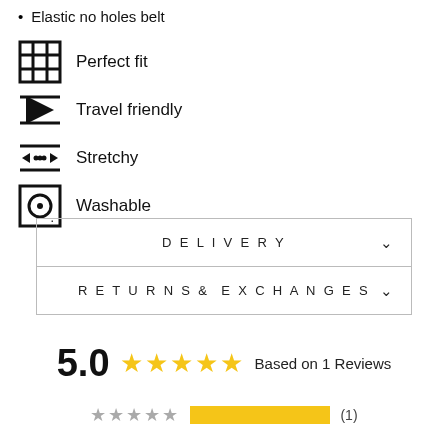Elastic no holes belt
[Figure (infographic): Four feature icons with labels: Perfect fit, Travel friendly, Stretchy, Washable]
| DELIVERY |
| RETURNS & EXCHANGES |
5.0  ★★★★★  Based on 1 Reviews
[Figure (infographic): Star rating bar: 5 grey stars, yellow progress bar, count (1)]